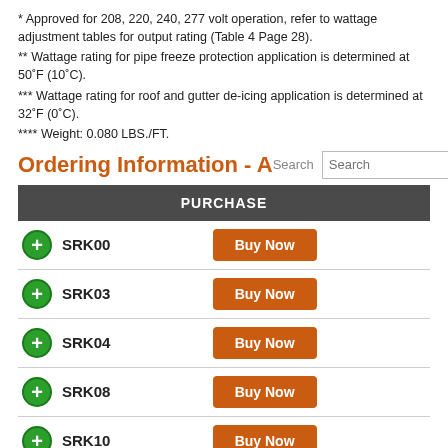* Approved for 208, 220, 240, 277 volt operation, refer to wattage adjustment tables for output rating (Table 4 Page 28).
** Wattage rating for pipe freeze protection application is determined at 50°F (10°C).
*** Wattage rating for roof and gutter de-icing application is determined at 32°F (0°C).
**** Weight: 0.080 LBS./FT.
Ordering Information - Accessories
| PURCHASE |
| --- |
| SRK00 | Buy Now |
| SRK03 | Buy Now |
| SRK04 | Buy Now |
| SRK08 | Buy Now |
| SRK10 | Buy Now |